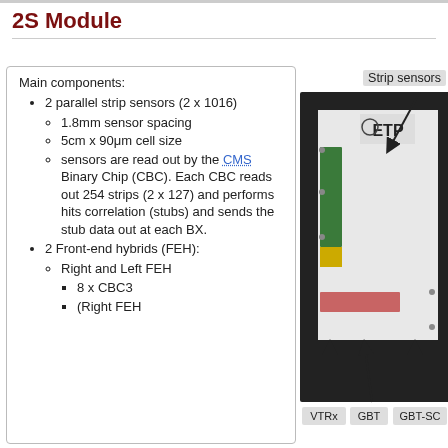2S Module
Main components:
2 parallel strip sensors (2 x 1016)
1.8mm sensor spacing
5cm x 90μm cell size
sensors are read out by the CMS Binary Chip (CBC). Each CBC reads out 254 strips (2 x 127) and performs hits correlation (stubs) and sends the stub data out at each BX.
2 Front-end hybrids (FEH):
Right and Left FEH
8 x CBC3
(Right FEH
[Figure (photo): Photo of a 2S module showing strip sensors, front-end hybrids, VTRx, GBT, and GBT-SC components with annotated arrows. The module is a PCB assembly with a large flat sensor area and associated electronics. Labels shown: Strip sensors, VTRx, GBT, GBT-SC.]